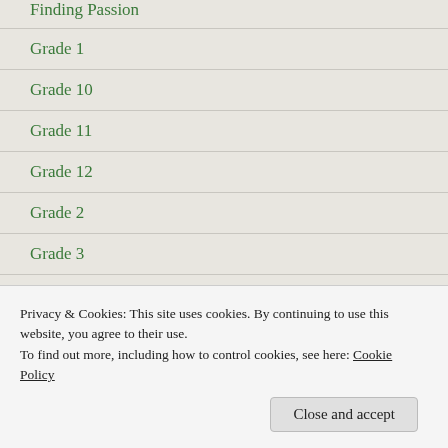Finding Passion
Grade 1
Grade 10
Grade 11
Grade 12
Grade 2
Grade 3
Grade 4
Grade 5
Grade 6
Privacy & Cookies: This site uses cookies. By continuing to use this website, you agree to their use.
To find out more, including how to control cookies, see here: Cookie Policy
Close and accept